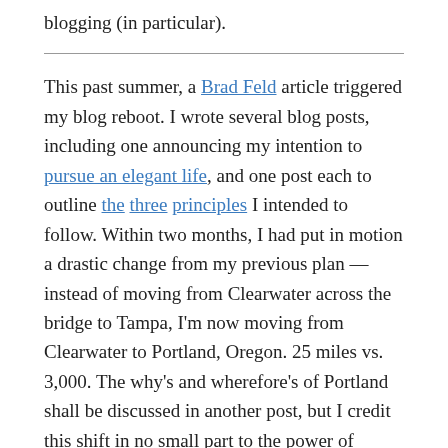blogging (in particular).
This past summer, a Brad Feld article triggered my blog reboot. I wrote several blog posts, including one announcing my intention to pursue an elegant life, and one post each to outline the three principles I intended to follow. Within two months, I had put in motion a drastic change from my previous plan — instead of moving from Clearwater across the bridge to Tampa, I'm now moving from Clearwater to Portland, Oregon. 25 miles vs. 3,000. The why's and wherefore's of Portland shall be discussed in another post, but I credit this shift in no small part to the power of stating my intentions clearly to